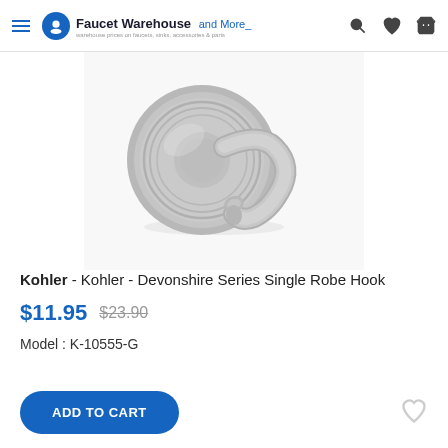Faucet Warehouse and More
[Figure (photo): Brushed nickel Kohler Devonshire Series Single Robe Hook, close-up product photo on white background]
Kohler - Kohler - Devonshire Series Single Robe Hook
$11.95  $23.90
Model : K-10555-G
ADD TO CART